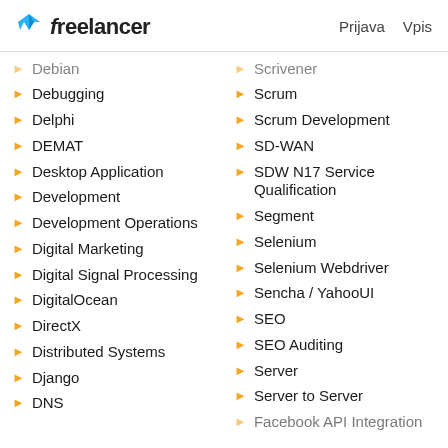Freelancer | Prijava Vpis
Debian
Debugging
Delphi
DEMAT
Desktop Application
Development
Development Operations
Digital Marketing
Digital Signal Processing
DigitalOcean
DirectX
Distributed Systems
Django
DNS
Scrivener
Scrum
Scrum Development
SD-WAN
SDW N17 Service Qualification
Segment
Selenium
Selenium Webdriver
Sencha / YahooUI
SEO
SEO Auditing
Server
Server to Server
Facebook API Integration